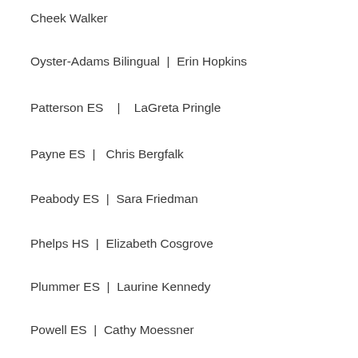Cheek Walker
Oyster-Adams Bilingual  |  Erin Hopkins
Patterson ES   |   LaGreta Pringle
Payne ES  |   Chris Bergfalk
Peabody ES  |  Sara Friedman
Phelps HS  |  Elizabeth Cosgrove
Plummer ES  |  Laurine Kennedy
Powell ES  |  Cathy Moessner
Randle Highlands ES |  Dane Jefferson